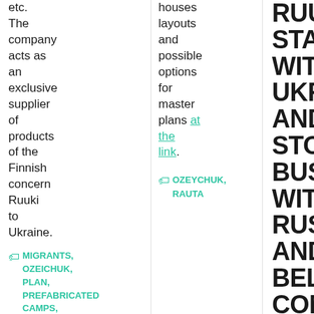etc. The company acts as an exclusive supplier of products of the Finnish concern Ruuki to Ukraine.
MIGRANTS, OZEICHUK, PLAN, PREFABRICATED CAMPS, RAUTA
houses layouts and possible options for master plans at the link.
OZEYCHUK, RAUTA
RUUKKI STANDS WITH UKRAINE AND STOPS BUSINESS WITH RUSSIAN AND BELARUSIAN COMPANIES
[Figure (photo): Small photo thumbnail in bottom right of right column]